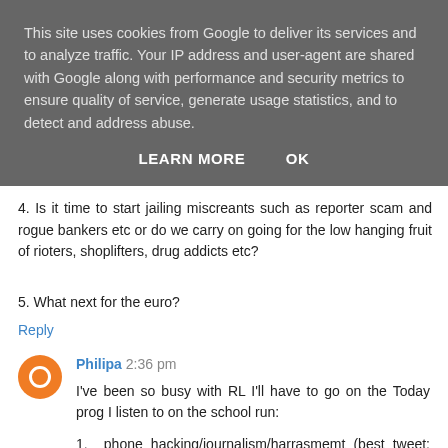This site uses cookies from Google to deliver its services and to analyze traffic. Your IP address and user-agent are shared with Google along with performance and security metrics to ensure quality of service, generate usage statistics, and to detect and address abuse.
LEARN MORE   OK
4. Is it time to start jailing miscreants such as reporter scam and rogue bankers etc or do we carry on going for the low hanging fruit of rioters, shoplifters, drug addicts etc?
5. What next for the euro?
Reply
Philipa 2:36 pm
I've been so busy with RL I'll have to go on the Today prog I listen to on the school run:
1.  phone hacking/journalism/harrasmemt (best tweet: remove the cameras and it's a dozen men trying to look up